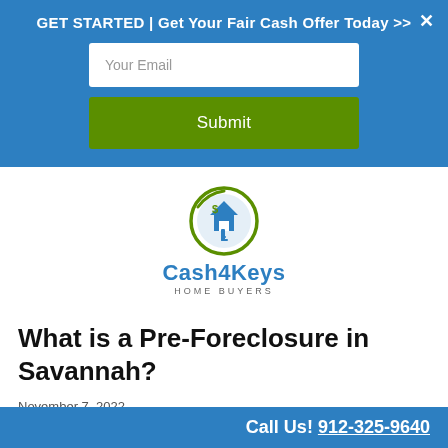GET STARTED | Get Your Fair Cash Offer Today >>
[Figure (screenshot): Email input field with placeholder 'Your Email' and a green Submit button on blue background]
[Figure (logo): Cash4Keys Home Buyers logo — circular green and blue icon with house and dollar sign, blue bold text 'Cash4Keys', grey uppercase 'HOME BUYERS']
What is a Pre-Foreclosure in Savannah?
November 7, 2022
Call Us! 912-325-9640